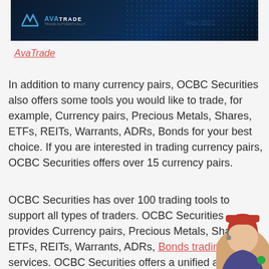[Figure (logo): AvaTrade logo banner with dark blue background and decorative grid pattern on the right side]
AvaTrade
In addition to many currency pairs, OCBC Securities also offers some tools you would like to trade, for example, Currency pairs, Precious Metals, Shares, ETFs, REITs, Warrants, ADRs, Bonds for your best choice. If you are interested in trading currency pairs, OCBC Securities offers over 15 currency pairs.
OCBC Securities has over 100 trading tools to support all types of traders. OCBC Securities provides Currency pairs, Precious Metals, Shares, ETFs, REITs, Warrants, ADRs, Bonds trading services. OCBC Securities offers a unified account structure for